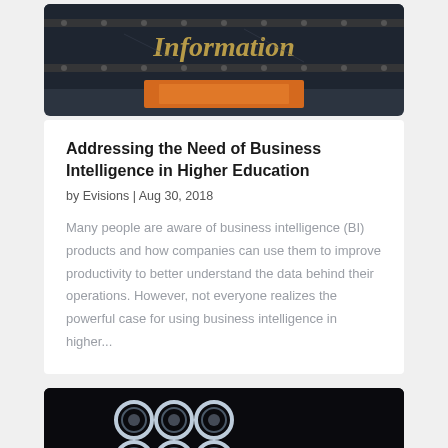[Figure (photo): Ornate dark metal chest or box with gothic 'Information' text in gold lettering, with metal studs and an orange detail at the bottom]
Addressing the Need of Business Intelligence in Higher Education
by Evisions | Aug 30, 2018
Many people are aware of business intelligence (BI) products and how companies can use them to improve productivity to better understand the data behind their operations. However, not everyone realizes the powerful case for using business intelligence in higher...
[Figure (photo): Dark background with glowing circular ring lights arranged in a pattern, technology/innovation theme]